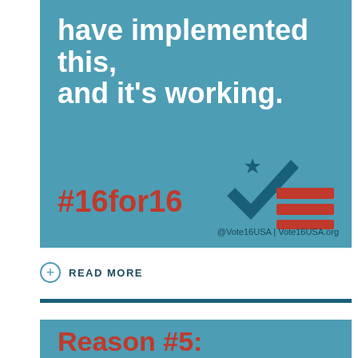[Figure (infographic): Blue teal card with large white bold text reading 'have implemented this, and it's working.' with a red hashtag #16for16 in bottom left, Vote16USA checkmark logo in bottom right with '@Vote16USA | Vote16USA.org' tagline]
⊕  READ MORE
[Figure (infographic): Blue teal card beginning with red bold text 'Reason #5:']